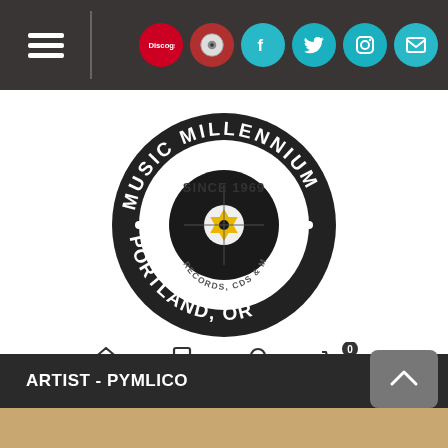[Figure (screenshot): Music Millennium website screenshot showing top navigation bar with hamburger menu and social media icons, circular logo with text MUSIC MILLENNIUM SINCE 1969 RECORDS CDS & MORE PORTLAND, OR with vinyl record graphic, navigation icons, search bar with FORMAT button, and ARTIST - PYMLICO section header]
Search Artist/M
FORMAT
ARTIST - PYMLICO